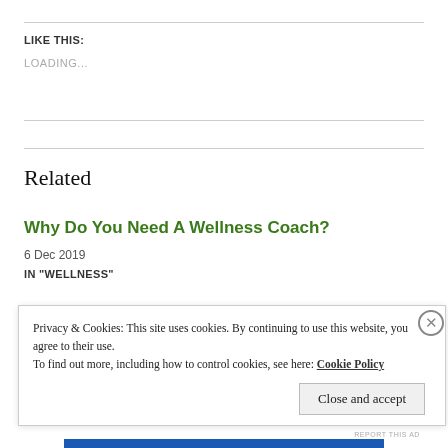LIKE THIS:
LOADING...
Related
Why Do You Need A Wellness Coach?
6 Dec 2019
IN "WELLNESS"
Privacy & Cookies: This site uses cookies. By continuing to use this website, you agree to their use. To find out more, including how to control cookies, see here: Cookie Policy
Close and accept